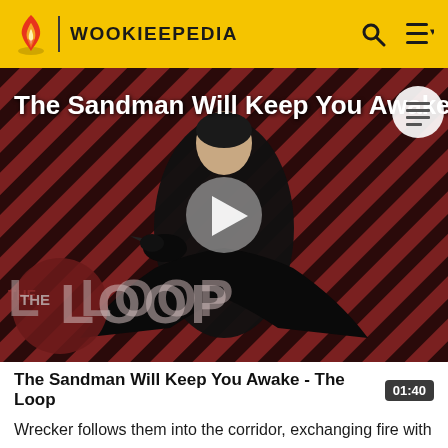WOOKIEEPEDIA
[Figure (screenshot): Video thumbnail showing 'The Sandman Will Keep You Awake - The Loop' with a figure in black cloak against diagonal striped red/dark background, with play button overlay and THE LOOP branding]
The Sandman Will Keep You Awake - The Loop
Wrecker follows them into the corridor, exchanging fire with Rex. Hunter throws his vibroblade at Wrecker, causing him to drop his blaster. Echo faces Wrecker with a canister as an improvised shield, but the bigger clone